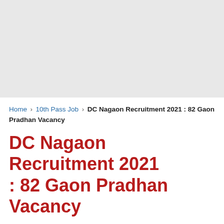[Figure (other): Gray advertisement banner area at top of page]
Home › 10th Pass Job › DC Nagaon Recruitment 2021 : 82 Gaon Pradhan Vacancy
DC Nagaon Recruitment 2021 : 82 Gaon Pradhan Vacancy
Admin
10th Pass Job
GOVERNMENT JOBS
Nagaon
STATE JOBS